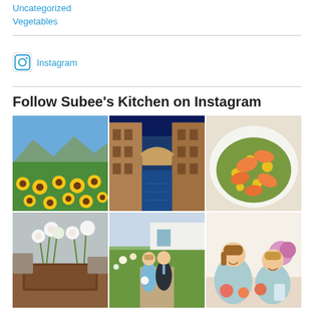Uncategorized
Vegetables
[Figure (logo): Instagram logo/icon with alt text 'Instagram']
Follow Subee's Kitchen on Instagram
[Figure (photo): Field of sunflowers with mountains and blue sky in background]
[Figure (photo): Bridge of Sighs in Venice, narrow canal between ornate stone buildings, deep blue sky]
[Figure (photo): Overhead shot of shrimp and corn dish on white plate]
[Figure (photo): Indoor table setting with fresh flower arrangements in wooden boxes]
[Figure (photo): Young couple dressed up, standing in front of white building with garden]
[Figure (photo): Two young girls smiling at camera, with food and flowers on table]